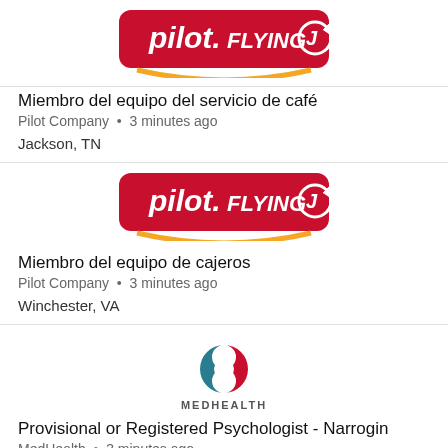[Figure (logo): Pilot Flying J logo - red rounded rectangle with white text 'Pilot FLYING J' and yellow arc]
Miembro del equipo del servicio de café
Pilot Company • 3 minutes ago
Jackson, TN
[Figure (logo): Pilot Flying J logo - red rounded rectangle with white text 'Pilot FLYING J' and yellow arc]
Miembro del equipo de cajeros
Pilot Company • 3 minutes ago
Winchester, VA
[Figure (logo): MedHealth logo - circular icon with teal and red/orange gradient colors, text 'MEDHEALTH' below]
Provisional or Registered Psychologist - Narrogin
MedHealth • 3 minutes ago